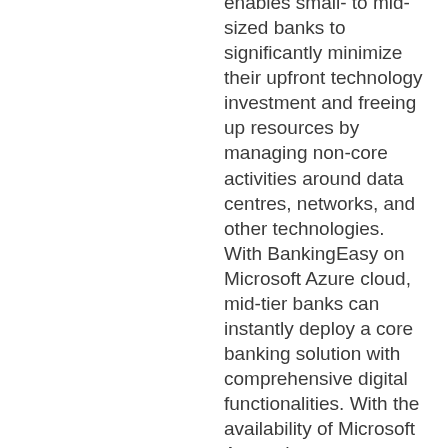enables small- to mid-sized banks to significantly minimize their upfront technology investment and freeing up resources by managing non-core activities around data centres, networks, and other technologies. With BankingEasy on Microsoft Azure cloud, mid-tier banks can instantly deploy a core banking solution with comprehensive digital functionalities. With the availability of Microsoft Azure datacenters locally, customers can move to the cloud keeping pace with